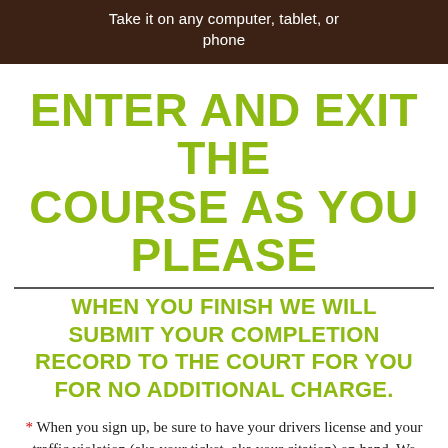Take it on any computer, tablet, or phone
ENTER AND EXIT THE COURSE AS YOU PLEASE
WHEN YOU FINISH WE WILL SUBMIT YOUR COMPLETION RECORD TO THE COURT FOR YOU FOR NO ADDITIONAL CHARGE.
* When you sign up, be sure to have your drivers license and your traffic violation (aka your ticket, aka your citation) on hand. We make it super easy for you to submit these documents; you can either scan them or